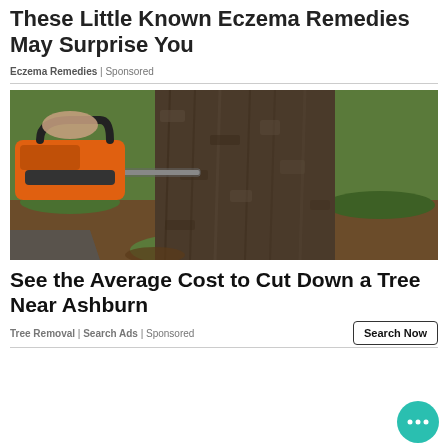These Little Known Eczema Remedies May Surprise You
Eczema Remedies | Sponsored
[Figure (photo): Person using an orange chainsaw to cut into a large tree trunk, with green grass and soil visible in the background.]
See the Average Cost to Cut Down a Tree Near Ashburn
Tree Removal | Search Ads | Sponsored
[Figure (illustration): Teal/green circular chat bubble icon with three dots, indicating a live chat widget in the bottom-right corner.]